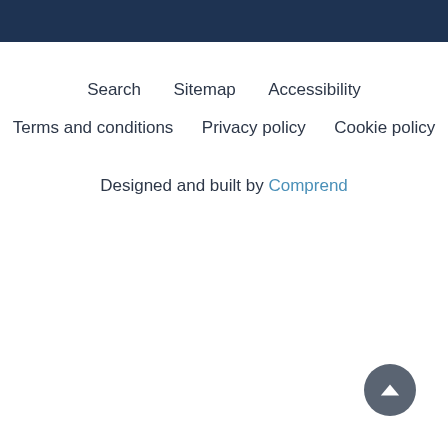Search   Sitemap   Accessibility
Terms and conditions   Privacy policy   Cookie policy
Designed and built by Comprend